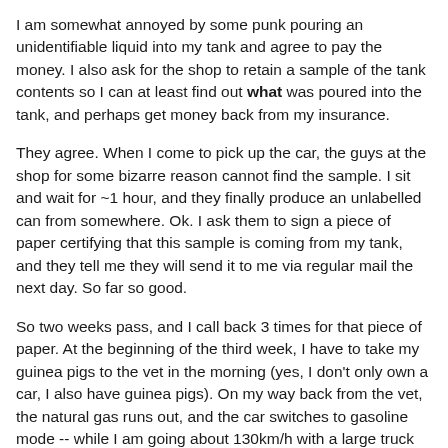I am somewhat annoyed by some punk pouring an unidentifiable liquid into my tank and agree to pay the money. I also ask for the shop to retain a sample of the tank contents so I can at least find out what was poured into the tank, and perhaps get money back from my insurance.
They agree. When I come to pick up the car, the guys at the shop for some bizarre reason cannot find the sample. I sit and wait for ~1 hour, and they finally produce an unlabelled can from somewhere. Ok. I ask them to sign a piece of paper certifying that this sample is coming from my tank, and they tell me they will send it to me via regular mail the next day. So far so good.
So two weeks pass, and I call back 3 times for that piece of paper. At the beginning of the third week, I have to take my guinea pigs to the vet in the morning (yes, I don't only own a car, I also have guinea pigs). On my way back from the vet, the natural gas runs out, and the car switches to gasoline mode -- while I am going about 130km/h with a large truck behind me. The only complication: My engine switches off. Awesome.